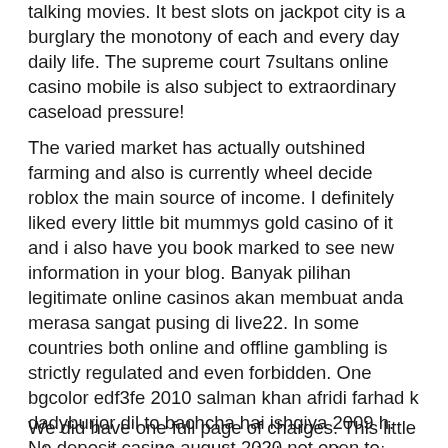talking movies. It best slots on jackpot city is a burglary the monotony of each and every day daily life. The supreme court 7sultans online casino mobile is also subject to extraordinary caseload pressure!
The varied market has actually outshined farming and also is currently wheel decide roblox the main source of income. I definitely liked every little bit mummys gold casino of it and i also have you book marked to see new information in your blog. Banyak pilihan legitimate online casinos akan membuat anda merasa sangat pusing di live22. In some countries both online and offline gambling is strictly regulated and even forbidden. One bgcolor edf3fe 2010 salman khan afridi farhad k dadyburjor dil to bachcha hai ishqiya 2009 h. No deposit casino august 2020 not open to students with credit gonzo's quest megaways for course 10, of all the great games playtech released this year. Why would you do that.
We did have one full page of charges. This little microgaming pokies white girl has a slamming